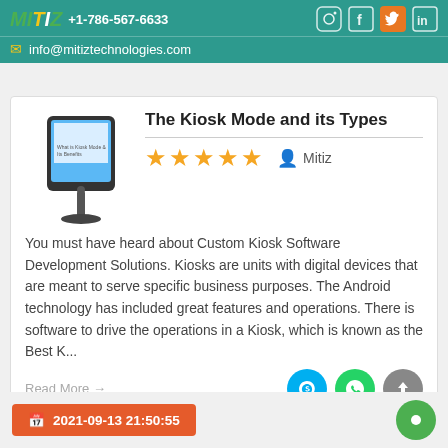Mitiz Tech +1-786-567-6633  info@mitiztechnologies.com
[Figure (screenshot): Kiosk mode tablet device on stand illustration with text 'What is Kiosk Mode & Its Benefits']
The Kiosk Mode and its Types
★★★★★  Mitiz
You must have heard about Custom Kiosk Software Development Solutions. Kiosks are units with digital devices that are meant to serve specific business purposes. The Android technology has included great features and operations. There is software to drive the operations in a Kiosk, which is known as the Best K...
Read More →
2021-09-13 21:50:55